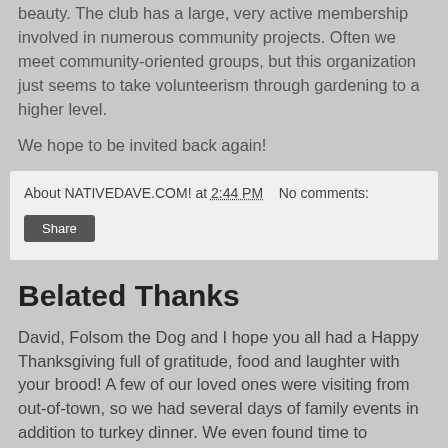beauty. The club has a large, very active membership involved in numerous community projects. Often we meet community-oriented groups, but this organization just seems to take volunteerism through gardening to a higher level.
We hope to be invited back again!
About NATIVEDAVE.COM! at 2:44 PM   No comments:
Share
Belated Thanks
David, Folsom the Dog and I hope you all had a Happy Thanksgiving full of gratitude, food and laughter with your brood! A few of our loved ones were visiting from out-of-town, so we had several days of family events in addition to turkey dinner. We even found time to squeeze in a baby shower.